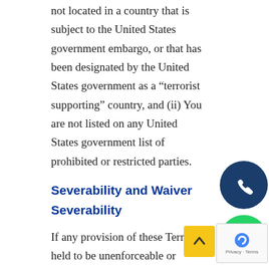not located in a country that is subject to the United States government embargo, or that has been designated by the United States government as a “terrorist supporting” country, and (ii) You are not listed on any United States government list of prohibited or restricted parties.
Severability and Waiver
Severability
If any provision of these Terms is held to be unenforceable or invalid, such provision will be changed and interpreted to accomplish the objectives of such